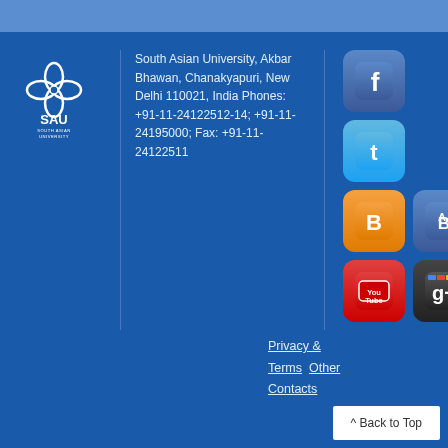[Figure (logo): SAU South Asian University logo in white on blue background]
South Asian University, Akbar Bhawan, Chanakyapuri, New Delhi 110021, India Phones: +91-11-24122512-14; +91-11-24195000; Fax: +91-11-24122511
[Figure (illustration): Social media icons: Facebook, Twitter, Blogger (orange), Blogger (blue/Academic), YouTube, Google+]
Privacy & Terms   Other Contacts
^ Back to Top